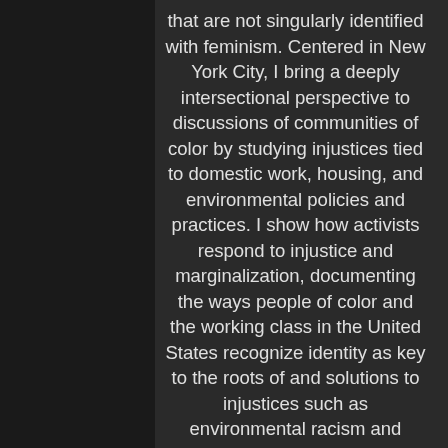that are not singularly identified with feminism. Centered in New York City, I bring a deeply intersectional perspective to discussions of communities of color by studying injustices tied to domestic work, housing, and environmental policies and practices. I show how activists respond to injustice and marginalization, documenting the ways people of color and the working class in the United States recognize identity as key to the roots of and solutions to injustices such as environmental racism and gentrification.

I further provide an in-depth analysis of the issues that organizations representing